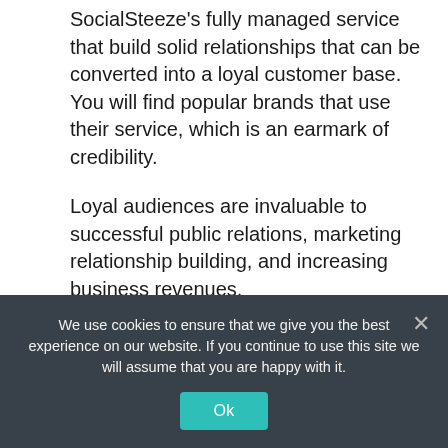SocialSteeze’s fully managed service that build solid relationships that can be converted into a loyal customer base. You will find popular brands that use their service, which is an earmark of credibility.
Loyal audiences are invaluable to successful public relations, marketing relationship building, and increasing business revenues.
Is Social Steeze a Scam? Is Social
We use cookies to ensure that we give you the best experience on our website. If you continue to use this site we will assume that you are happy with it.